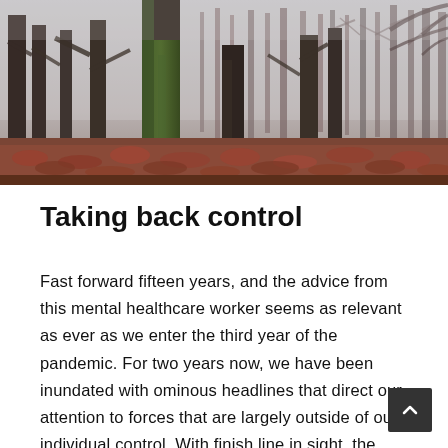[Figure (photo): Misty forest scene with tall bare trees, moss-covered tree trunk in foreground, and red-brown fallen leaves on ground. Foggy grey atmosphere.]
Taking back control
Fast forward fifteen years, and the advice from this mental healthcare worker seems as relevant as ever as we enter the third year of the pandemic. For two years now, we have been inundated with ominous headlines that direct our attention to forces that are largely outside of our individual control. With finish line in sight, the uncertainty can leave us